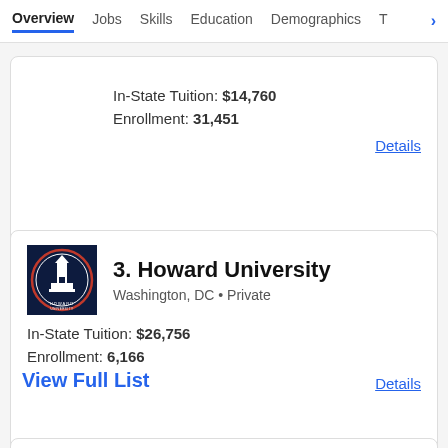Overview  Jobs  Skills  Education  Demographics  T >
In-State Tuition: $14,760
Enrollment: 31,451
Details
3. Howard University
Washington, DC • Private
In-State Tuition: $26,756
Enrollment: 6,166
Details
View Full List